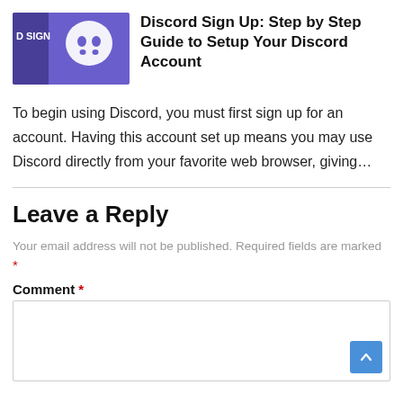[Figure (illustration): Discord logo thumbnail image showing Discord mascot on purple background with text 'D SIGN' visible on left edge]
Discord Sign Up: Step by Step Guide to Setup Your Discord Account
To begin using Discord, you must first sign up for an account. Having this account set up means you may use Discord directly from your favorite web browser, giving…
Leave a Reply
Your email address will not be published. Required fields are marked *
Comment *